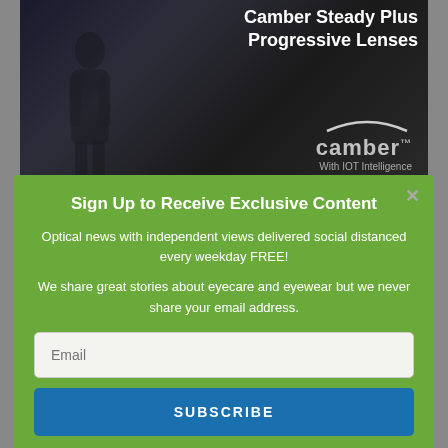[Figure (photo): Dark-toned advertisement photo of a man wearing earphones holding a phone, with large white text 'Camber Steady Plus Progressive Lenses' and the Camber brand logo with 'With IOT Intelligence' tagline]
Sign Up to Receive Exclusive Content
Optical news with independent views delivered social distanced every weekday FREE!
We share great stories about eyecare and eyewear but we never share your email address.